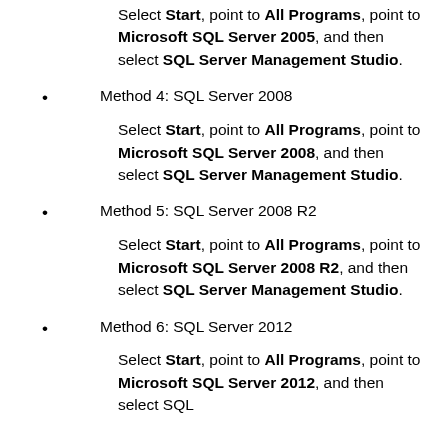Select Start, point to All Programs, point to Microsoft SQL Server 2005, and then select SQL Server Management Studio.
Method 4: SQL Server 2008
Select Start, point to All Programs, point to Microsoft SQL Server 2008, and then select SQL Server Management Studio.
Method 5: SQL Server 2008 R2
Select Start, point to All Programs, point to Microsoft SQL Server 2008 R2, and then select SQL Server Management Studio.
Method 6: SQL Server 2012
Select Start, point to All Programs, point to Microsoft SQL Server 2012, and then select SQL...